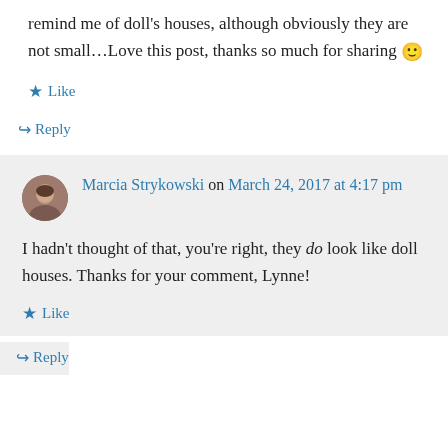remind me of doll's houses, although obviously they are not small...Love this post, thanks so much for sharing 🙂
★ Like
↪ Reply
Marcia Strykowski on March 24, 2017 at 4:17 pm
I hadn't thought of that, you're right, they do look like doll houses. Thanks for your comment, Lynne!
★ Like
↪ Reply